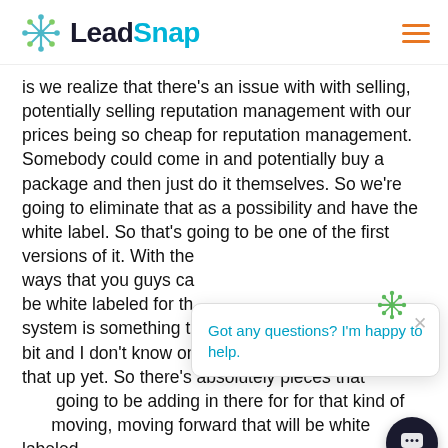LeadSnap
is we realize that there's an issue with with selling, potentially selling reputation management with our prices being so cheap for reputation management. Somebody could come in and potentially buy a package and then just do it themselves. So we're going to eliminate that as a possibility and have the white label. So that's going to be one of the first versions of it. With the ways that you guys can be white labeled for th system is something th bit and I don't know one hundred percent how to set that up yet. So there's absolutely pieces that going to be adding in there for for that kind of moving, moving forward that will be white labeled